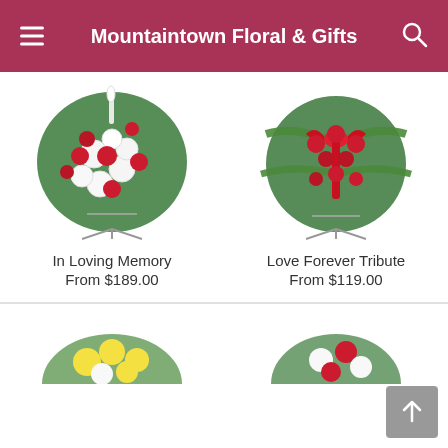Mountaintown Floral & Gifts
[Figure (photo): Floral standing spray arrangement with red roses and white carnations on an easel stand — In Loving Memory]
In Loving Memory
From $189.00
[Figure (photo): Floral cross arrangement with red roses and red satin ribbon on an easel stand — Love Forever Tribute]
Love Forever Tribute
From $119.00
[Figure (photo): Partial view of a yellow and white floral arrangement at the bottom left]
[Figure (photo): Partial view of a floral arrangement at the bottom right]